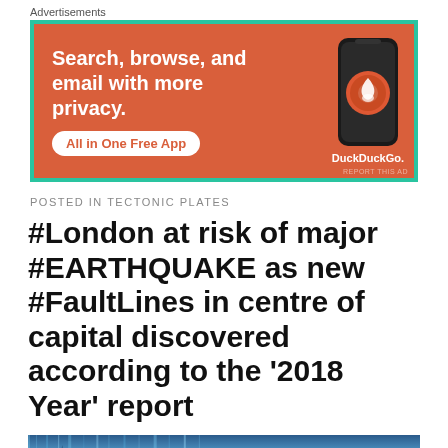Advertisements
[Figure (other): DuckDuckGo advertisement banner: orange background with text 'Search, browse, and email with more privacy. All in One Free App' and a smartphone showing DuckDuckGo logo]
POSTED IN TECTONIC PLATES
#London at risk of major #EARTHQUAKE as new #FaultLines in centre of capital discovered according to the '2018 Year' report
[Figure (photo): Blue-toned cityscape photo showing what appears to be the Shard skyscraper in London with a stylized seismic waveform or skyline overlay]